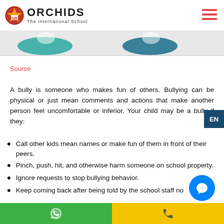ORCHIDS The International School
[Figure (photo): Banner image with teal/green decorative shapes or student images]
Source
A bully is someone who makes fun of others. Bullying can be physical or just mean comments and actions that make another person feel uncomfortable or inferior. Your child may be a bully if they:
Call other kids mean names or make fun of them in front of their peers.
Pinch, push, hit, and otherwise harm someone on school property.
Ignore requests to stop bullying behavior.
Keep coming back after being told by the school staff no...